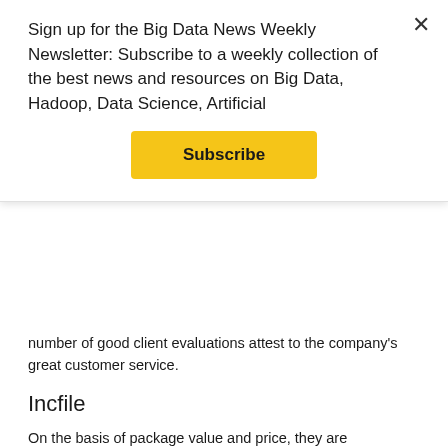Sign up for the Big Data News Weekly Newsletter: Subscribe to a weekly collection of the best news and resources on Big Data, Hadoop, Data Science, Artificial
Subscribe
number of good client evaluations attest to the company's great customer service.
Incfile
On the basis of package value and price, they are entrepreneur favorites. Thousands of consumers have benefited from their assistance with state filing during regular business hours.
Incfile has been in the business for a long and has gained invaluable knowledge with LLC creation procedures. In terms of value and affordability, it is one of the most popular agents registered. The firm includes a learning center with information on how to incorporate an LLC. Their user-friendly dashboard makes it easy for company owners to keep track of and retrieve vital papers.